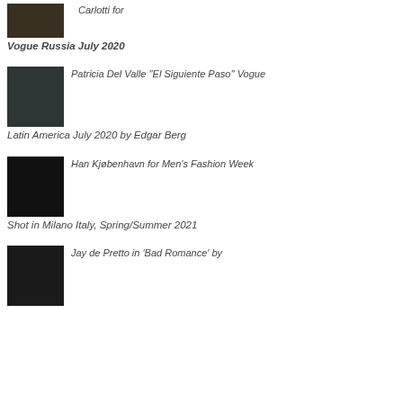Carlotti for Vogue Russia July 2020
[Figure (photo): Small dark thumbnail photo]
Patricia Del Valle ''El Siguiente Paso'' Vogue Latin America July 2020 by Edgar Berg
[Figure (photo): Portrait photo of a woman with teal hair highlights]
Han Kjøbenhavn for Men's Fashion Week Shot in Milano Italy, Spring/Summer 2021
[Figure (photo): Dark fashion photo of leather accessories]
Jay de Pretto in 'Bad Romance' by
[Figure (photo): Black and white photo]